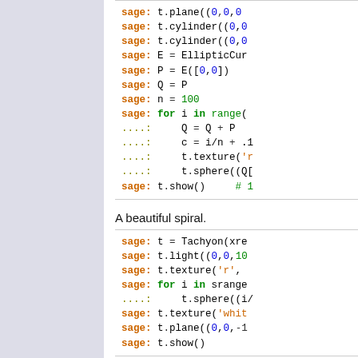[Figure (screenshot): Left lavender/light-purple sidebar panel]
sage: t.plane((0,0,0
sage: t.cylinder((0,0
sage: t.cylinder((0,0
sage: E = EllipticCur
sage: P = E([0,0])
sage: Q = P
sage: n = 100
sage: for i in range(
....:     Q = Q + P
....:     c = i/n + .1
....:     t.texture('r
....:     t.sphere((Q[
sage: t.show()      # 1
A beautiful spiral.
sage: t = Tachyon(xre
sage: t.light((0,0,10
sage: t.texture('r',
sage: for i in srange
....:     t.sphere((i/
sage: t.texture('whit
sage: t.plane((0,0,-1
sage: t.show()
If the optional parame center should not coinci